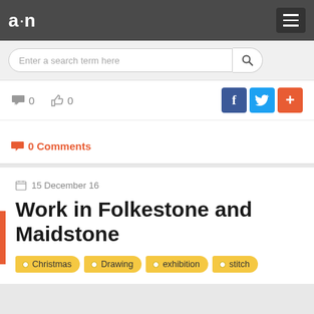a·n
Enter a search term here
0  0
0 Comments
15 December 16
Work in Folkestone and Maidstone
Christmas
Drawing
exhibition
stitch